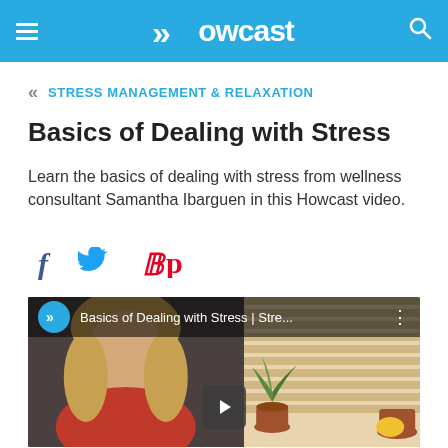Howcast
STRESS MANAGEMENT & RELAXATION
Basics of Dealing with Stress
Learn the basics of dealing with stress from wellness consultant Samantha Ibarguen in this Howcast video.
[Figure (screenshot): Social sharing icons: Facebook (f), Twitter bird, Pinterest (P) in a horizontal row]
[Figure (screenshot): Video thumbnail showing a woman with blonde hair in a red shirt in front of window blinds with potted plants. Overlay shows Howcast logo circle, title 'Basics of Dealing with Stress | Stre...' and a play button in the center.]